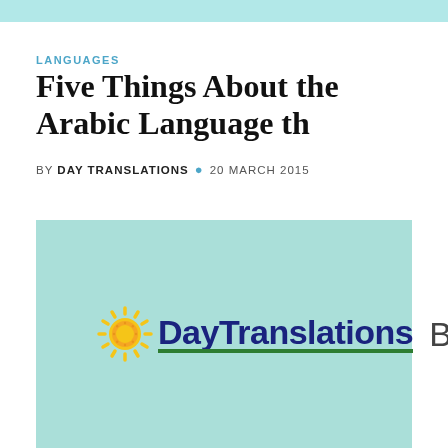LANGUAGES
Five Things About the Arabic Language th
BY DAY TRANSLATIONS · 20 MARCH 2015
[Figure (logo): Day Translations Blog logo on a teal/mint background. Shows a stylized sun icon in yellow/orange, followed by 'DayTranslations' in dark navy bold text with a green underline, and 'Blog' in grey text to the right.]